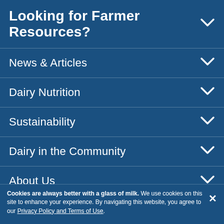Looking for Farmer Resources?
News & Articles
Dairy Nutrition
Sustainability
Dairy in the Community
About Us
For Media
Cookies are always better with a glass of milk. We use cookies on this site to enhance your experience. By navigating this website, you agree to our Privacy Policy and Terms of Use.